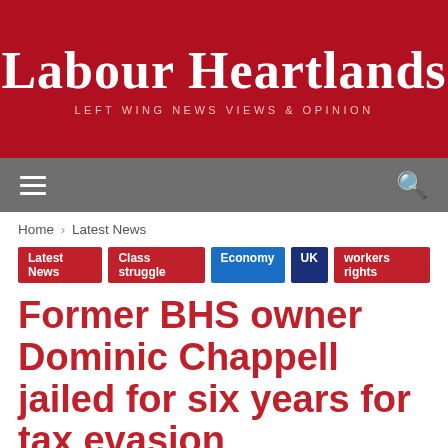Labour Heartlands
LEFT WING NEWS VIEWS & OPINION
Former BHS owner Dominic Chappell jailed for six years for tax evasion
By Paul Knaggs - November 5, 2020 · 1127 views
Like 920